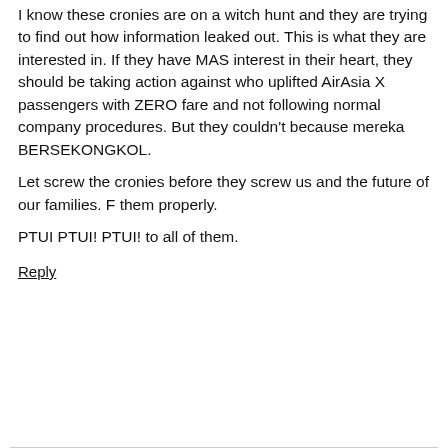I know these cronies are on a witch hunt and they are trying to find out how information leaked out. This is what they are interested in. If they have MAS interest in their heart, they should be taking action against who uplifted AirAsia X passengers with ZERO fare and not following normal company procedures. But they couldn't because mereka BERSEKONGKOL.
Let screw the cronies before they screw us and the future of our families. F them properly.
PTUI PTUI! PTUI! to all of them.
Reply